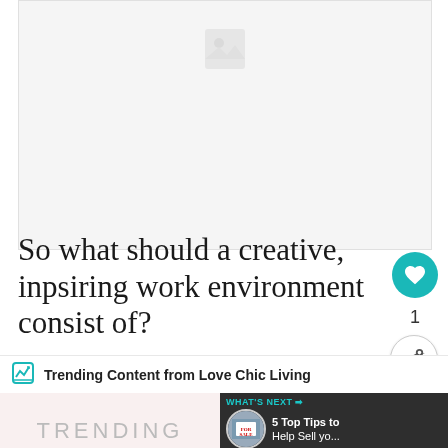[Figure (photo): Large placeholder image area at the top of the article page]
So what should a creative, inpsiring work environment consist of?
Trending Content from Love Chic Living
[Figure (photo): Bottom section showing TRENDING label on pink background and a woman photo on grey background with WHAT'S NEXT overlay: 5 Top Tips to Help Sell yo...]